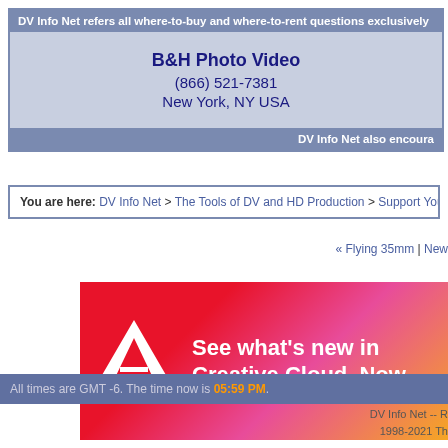DV Info Net refers all where-to-buy and where-to-rent questions exclusively
B&H Photo Video
(866) 521-7381
New York, NY USA
DV Info Net also encoura
You are here: DV Info Net > The Tools of DV and HD Production > Support You
« Flying 35mm | New
[Figure (screenshot): Adobe Creative Cloud banner advertisement with Adobe logo and text 'See what's new in Creative Cloud. Now']
All times are GMT -6. The time now is 05:59 PM.
DV Info Net -- R
1998-2021 Th